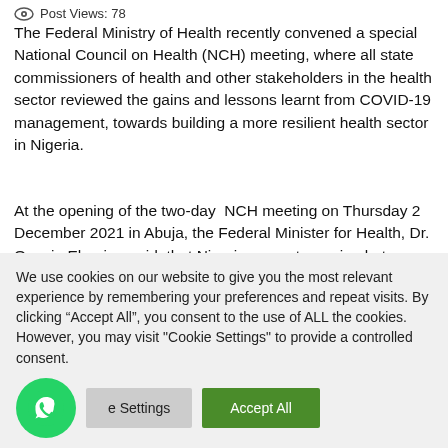Post Views: 78
The Federal Ministry of Health recently convened a special National Council on Health (NCH) meeting, where all state commissioners of health and other stakeholders in the health sector reviewed the gains and lessons learnt from COVID-19 management, towards building a more resilient health sector in Nigeria.
At the opening of the two-day NCH meeting on Thursday 2 December 2021 in Abuja, the Federal Minister for Health, Dr. Osagie Ehanire, said that Nigerians must remain alert as new variants of the virus which are more contagious and virulent, power new waves of infections.
We use cookies on our website to give you the most relevant experience by remembering your preferences and repeat visits. By clicking “Accept All”, you consent to the use of ALL the cookies. However, you may visit "Cookie Settings" to provide a controlled consent.